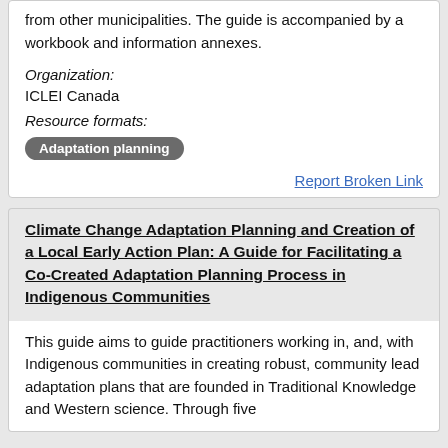from other municipalities. The guide is accompanied by a workbook and information annexes.
Organization: ICLEI Canada
Resource formats:
Adaptation planning
Report Broken Link
Climate Change Adaptation Planning and Creation of a Local Early Action Plan: A Guide for Facilitating a Co-Created Adaptation Planning Process in Indigenous Communities
This guide aims to guide practitioners working in, and, with Indigenous communities in creating robust, community lead adaptation plans that are founded in Traditional Knowledge and Western science. Through five